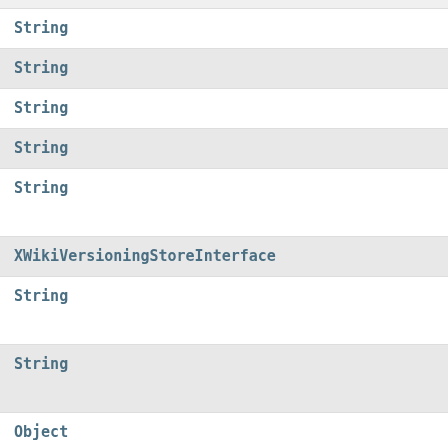String
String
String
String
String
XWikiVersioningStoreInterface
String
String
Object
BaseClass